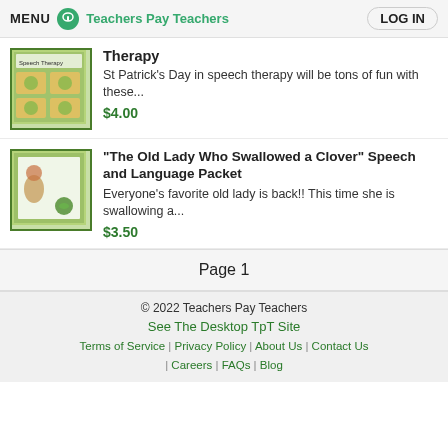MENU  Teachers Pay Teachers  LOG IN
Therapy
St Patrick's Day in speech therapy will be tons of fun with these...
$4.00
"The Old Lady Who Swallowed a Clover" Speech and Language Packet
Everyone's favorite old lady is back!! This time she is swallowing a...
$3.50
Page 1
© 2022 Teachers Pay Teachers
See The Desktop TpT Site
Terms of Service | Privacy Policy | About Us | Contact Us | Careers | FAQs | Blog